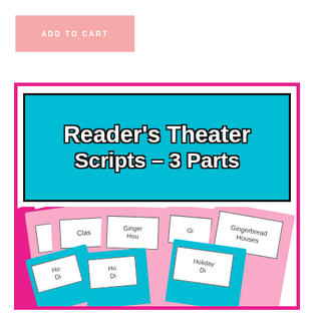[Figure (other): ADD TO CART button in light pink/salmon color]
[Figure (illustration): Reader's Theater Scripts - 3 Parts product image. Shows a cyan header banner with the text 'Reader's Theater Scripts - 3 Parts' framed in magenta border, with pink and cyan folders below labeled 'Gingerbread Houses', 'Clas...', 'Ho D...', 'Holiday Di...' etc.]